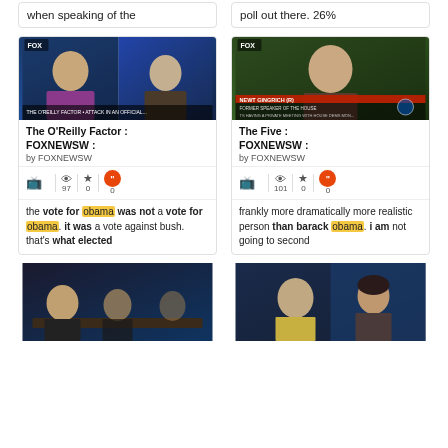when speaking of the
poll out there. 26%
[Figure (screenshot): Fox News video thumbnail showing two men on The O'Reilly Factor]
The O'Reilly Factor : FOXNEWSW :
by FOXNEWSW
97 views, 0 favorites, 0 quotes
the vote for obama was not a vote for obama. it was a vote against bush. that's what elected
[Figure (screenshot): Fox News video thumbnail showing Newt Gingrich on The Five]
The Five : FOXNEWSW :
by FOXNEWSW
101 views, 0 favorites, 0 quotes
frankly more dramatically more realistic person than barack obama. i am not going to second
[Figure (screenshot): Video thumbnail showing a man at a conference table]
[Figure (screenshot): Video thumbnail showing a man and woman in a news studio]